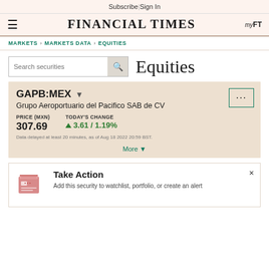Subscribe | Sign In
FINANCIAL TIMES
MARKETS > MARKETS DATA > EQUITIES
Search securities  Equities
GAPB:MEX  Grupo Aeroportuario del Pacifico SAB de CV  PRICE (MXN) 307.69  TODAY'S CHANGE 3.61 / 1.19%  Data delayed at least 20 minutes, as of Aug 18 2022 20:59 BST.  More
Take Action  Add this security to watchlist, portfolio, or create an alert